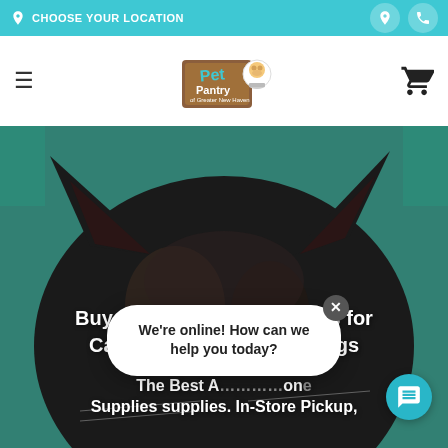CHOOSE YOUR LOCATION
[Figure (logo): Pet Pantry logo with dog mascot holding a bowl]
[Figure (photo): Close-up photo of a black cat's head against teal/green background]
Buy Cat Grooming Supplies for Cats in… gs
The Best A… on Supplies supplies. In-Store Pickup,
We're online! How can we help you today?